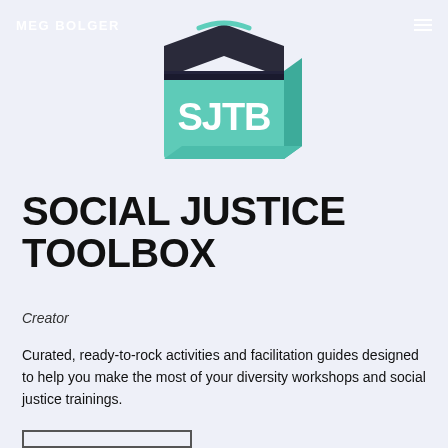MEG BOLGER
[Figure (logo): SJTB toolbox logo — a teal green 3D box/toolbox with 'SJTB' written in white bold letters on the front face, styled like a toolbox with a dark lid and teal body.]
SOCIAL JUSTICE TOOLBOX
Creator
Curated, ready-to-rock activities and facilitation guides designed to help you make the most of your diversity workshops and social justice trainings.